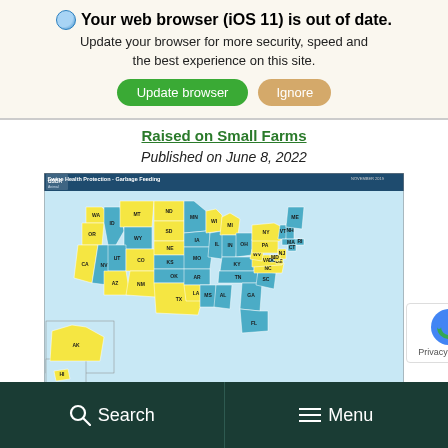🌐 Your web browser (iOS 11) is out of date. Update your browser for more security, speed and the best experience on this site. [Update browser] [Ignore]
Raised on Small Farms
Published on June 8, 2022
[Figure (map): USDA Swine Health Protection - Garbage Feeding map of the United States showing states in blue (regulated) and yellow (not regulated) colors. November 2019. States labeled with two-letter abbreviations.]
Search  Menu